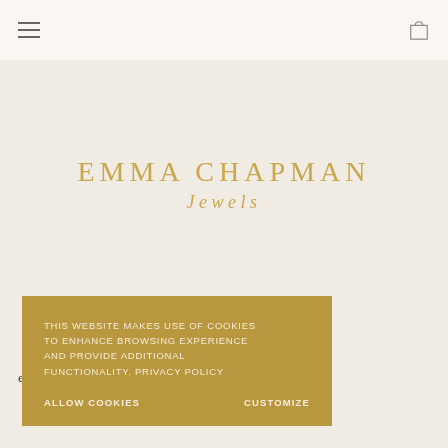Navigation bar with hamburger menu and cart icon
EMMA CHAPMAN Jewels
award winning jewellery with you to create jewellery that are especially for you, or your loved ones.
THIS WEBSITE MAKES USE OF COOKIES TO ENHANCE BROWSING EXPERIENCE AND PROVIDE ADDITIONAL FUNCTIONALITY. PRIVACY POLICY
ALLOW COOKIES   CUSTOMIZE